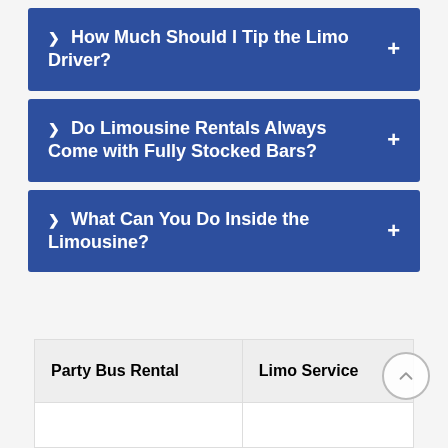❯ How Much Should I Tip the Limo Driver?
❯ Do Limousine Rentals Always Come with Fully Stocked Bars?
❯ What Can You Do Inside the Limousine?
| Party Bus Rental | Limo Service |
| --- | --- |
|  |  |